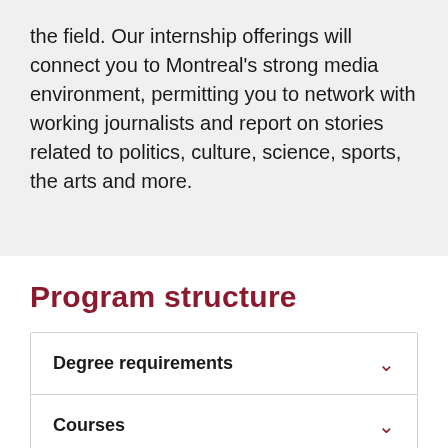the field. Our internship offerings will connect you to Montreal's strong media environment, permitting you to network with working journalists and report on stories related to politics, culture, science, sports, the arts and more.
Program structure
Degree requirements
Courses